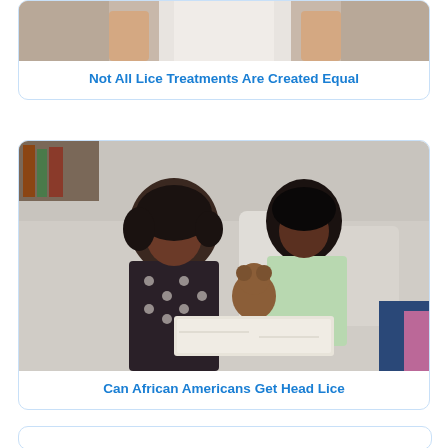[Figure (photo): Partial view of a woman in a white tank top, cropped at torso level, top of page]
Not All Lice Treatments Are Created Equal
[Figure (photo): Two young African American girls sitting on a couch looking at a book/tablet together, one holding a teddy bear]
Can African Americans Get Head Lice